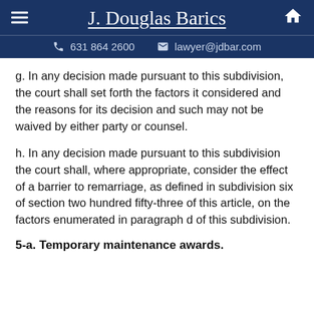J. Douglas Barics | 631 864 2600 | lawyer@jdbar.com
g. In any decision made pursuant to this subdivision, the court shall set forth the factors it considered and the reasons for its decision and such may not be waived by either party or counsel.
h. In any decision made pursuant to this subdivision the court shall, where appropriate, consider the effect of a barrier to remarriage, as defined in subdivision six of section two hundred fifty-three of this article, on the factors enumerated in paragraph d of this subdivision.
5-a. Temporary maintenance awards.